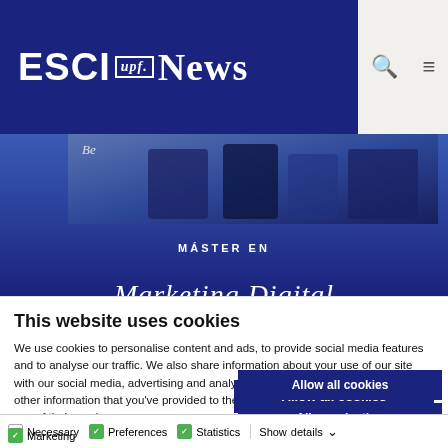ESCI upf. News
[Figure (screenshot): Banner image showing ESCI UPF Máster en Marketing Digital promotional graphic with dark blue background]
This website uses cookies
We use cookies to personalise content and ads, to provide social media features and to analyse our traffic. We also share information about your use of our site with our social media, advertising and analytics partners who may combine it with other information that you've provided to them or that they've collected from your use of their services.
Allow all cookies
Allow selection
Use necessary cookies only
Necessary  Preferences  Statistics  Marketing  Show details